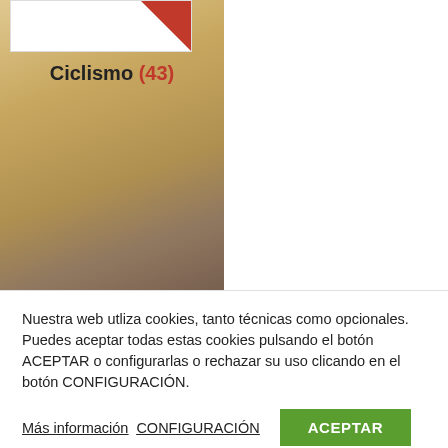[Figure (photo): Two cycling category cards shown as image tiles side by side — left tile shows warm golden background (cycling imagery), right tile shows darker athletic background (accessories imagery). Each card has a white rectangle at top with red corner accent.]
Ciclismo (43)
Accesorios (28)
Nuestra web utliza cookies, tanto técnicas como opcionales. Puedes aceptar todas estas cookies pulsando el botón ACEPTAR o configurarlas o rechazar su uso clicando en el botón CONFIGURACIÓN.
Más información CONFIGURACIÓN ACEPTAR